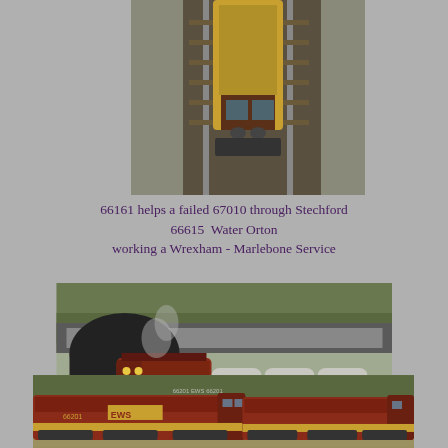[Figure (photo): Aerial/overhead view of railway locomotive 66161 helping failed 67010 through Stechford station, showing tracks and platform]
66161 helps a failed 67010 through Stechford
66615  Water Orton
working a Wrexham - Marlebone Service
[Figure (photo): EWS Class 66 locomotive 66615 at Water Orton pulling tank wagons out of a tunnel, maroon and yellow livery]
[Figure (photo): Two EWS Class 66 locomotives side by side, maroon and yellow livery with EWS branding, working a Wrexham to Marylebone service]